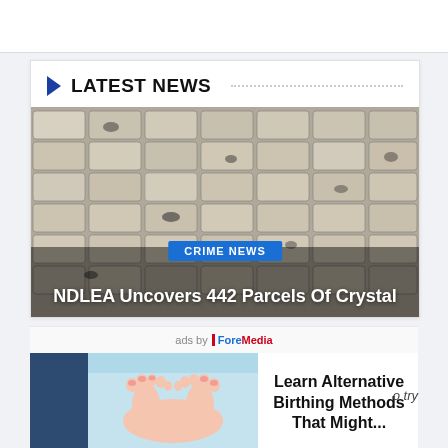LATEST NEWS
[Figure (photo): Large stacked white-gray brick parcels (drugs) photographed closely, filling the frame]
CRIME NEWS
NDLEA Uncovers 442 Parcels Of Crystal M...
ads by ForeMedia
[Figure (photo): Baby feet close-up on light blue background]
Learn Alternative Birthing Methods That Might...
o try